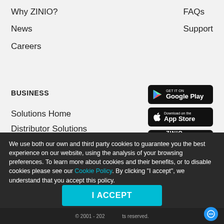Why ZINIO?
News
Careers
FAQs
Support
BUSINESS
Solutions Home
Distributor Solutions
Publisher Solutions
[Figure (screenshot): Get it on Google Play badge]
[Figure (screenshot): Download on the App Store badge]
[Figure (screenshot): ZINIO READER offline & online reading badge]
We use both our own and third party cookies to guarantee you the best experience on our website, using the analysis of your browsing preferences. To learn more about cookies and their benefits, or to disable cookies please see our Cookie Policy. By clicking "I accept", we understand that you accept this policy.
© 2001 - 202... All rights reserved.